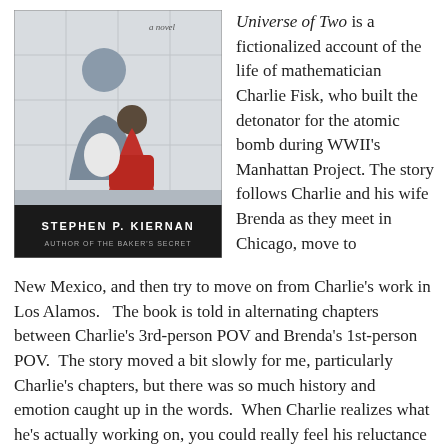[Figure (illustration): Book cover of 'Universe of Two' by Stephen P. Kiernan, showing two figures sitting together. Text reads 'a novel', 'STEPHEN P. KIERNAN', 'AUTHOR OF THE BAKER'S SECRET'.]
Universe of Two is a fictionalized account of the life of mathematician Charlie Fisk, who built the detonator for the atomic bomb during WWII's Manhattan Project.  The story follows Charlie and his wife Brenda as they meet in Chicago, move to New Mexico, and then try to move on from Charlie's work in Los Alamos.   The book is told in alternating chapters between Charlie's 3rd-person POV and Brenda's 1st-person POV.  The story moved a bit slowly for me, particularly Charlie's chapters, but there was so much history and emotion caught up in the words.  When Charlie realizes what he's actually working on, you could really feel his reluctance to finish the project, how he wrestled with what he was doing, and later, his guilt.  I enjoyed Brenda's chapters because they are written as if she is older and looking back on her earlier life.  She is able to see mistakes she made and how she wishes she acted differently in certain